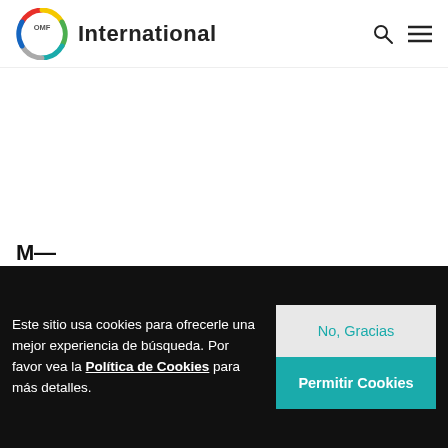OMF International
Este sitio usa cookies para ofrecerle una mejor experiencia de búsqueda. Por favor vea la Política de Cookies para más detalles.
No, Gracias
Permitir Cookies